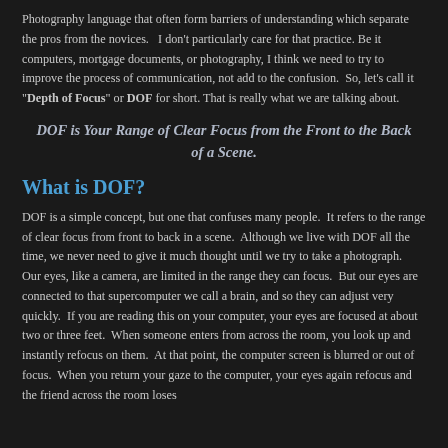Photography language that often form barriers of understanding which separate the pros from the novices.   I don't particularly care for that practice.  Be it computers, mortgage documents, or photography, I think we need to try to improve the process of communication, not add to the confusion.  So, let's call it "Depth of Focus" or DOF for short. That is really what we are talking about.
DOF is Your Range of Clear Focus from the Front to the Back of a Scene.
What is DOF?
DOF is a simple concept, but one that confuses many people.  It refers to the range of clear focus from front to back in a scene.  Although we live with DOF all the time, we never need to give it much thought until we try to take a photograph.   Our eyes, like a camera, are limited in the range they can focus.  But our eyes are connected to that supercomputer we call a brain, and so they can adjust very quickly.  If you are reading this on your computer, your eyes are focused at about two or three feet.  When someone enters from across the room, you look up and instantly refocus on them.  At that point, the computer screen is blurred or out of focus.  When you return your gaze to the computer, your eyes again refocus and the friend across the room loses